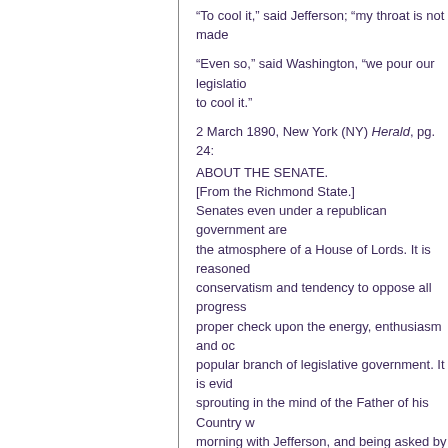“To cool it,” said Jefferson; “my throat is not made
“Even so,” said Washington, “we pour our legislation into the saucer to cool it.”
2 March 1890, New York (NY) Herald, pg. 24:
ABOUT THE SENATE.
[From the Richmond State.]
Senates even under a republican government are apt to breathe the atmosphere of a House of Lords. It is reasoned that their conservatism and tendency to oppose all progress is a proper check upon the energy, enthusiasm and occasional radicalism of the popular branch of legislative government. It is evident that the idea was sprouting in the mind of the Father of his Country when breakfasting one morning with Jefferson, and being asked by that worthy statesman why he had agreed to the establishment of the Senate, said “why did you just now pour that coffee into your saucer before mankind became so polite as to be ready to drink from the cup of fashion.) “To cool it,” said Jefferson. “My throat is not—” “Even so,” said Washington, “we pour our legislation into it to cool it.” Unfortunately the Father of his Country, wise and far-seeing as he was, did not foresee that it would often stay in the saucer till it grows cold, and its properties would be lost altogether.
COOLAVIN.